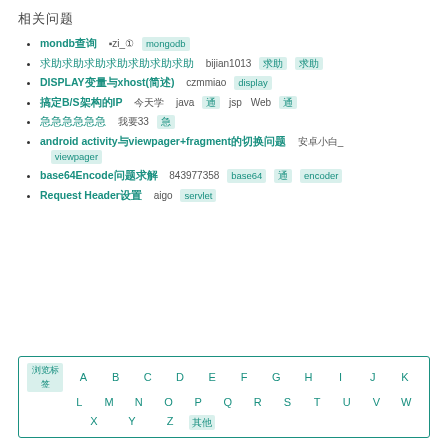相关问题
mondb查询  ▪zi_① ▪mongodb
求助求助求助求助求助求助求助  bijian1013  ▪求助 ▪求助
DISPLAY变量与xhost(综述)  czmmiao  ▪display
搞定B/S架构的IP  今天学  java ▪通 ▪jsp Web ▪通
急急急急急急  我要33  ▪急
android activity与viewpager+fragment的切换问题  安卓小白_  viewpager
base64Encode问题求解  843977358  base64 ▪通 encoder
Request Header设置  aigo  servlet
| 浏览标签 | A | B | C | D | E | F | G | H | I | J | K | L | M | N | O | P | Q | R | S | T | U | V | W | X | Y | Z | 其他 |
| --- | --- | --- | --- | --- | --- | --- | --- | --- | --- | --- | --- | --- | --- | --- | --- | --- | --- | --- | --- | --- | --- | --- | --- | --- | --- | --- | --- |